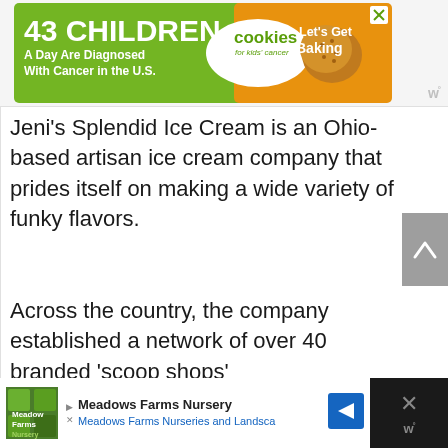[Figure (other): Advertisement banner: '43 CHILDREN A Day Are Diagnosed With Cancer in the U.S.' with cookies for kids' cancer logo and 'Let's Get Baking' call to action on orange/green background]
[Figure (other): Large blank white advertisement placeholder area with 'W°' watermark in bottom right corner]
Jeni's Splendid Ice Cream is an Ohio-based artisan ice cream company that prides itself on making a wide variety of funky flavors.
Across the country, the company established a network of over 40 branded 'scoop shops'
[Figure (other): Bottom advertisement: Meadows Farms Nursery ad with logo, 'Meadows Farms Nurseries and Landsca...' text and blue arrow navigation icon]
[Figure (other): Dark right panel with X close button and W° watermark logo]